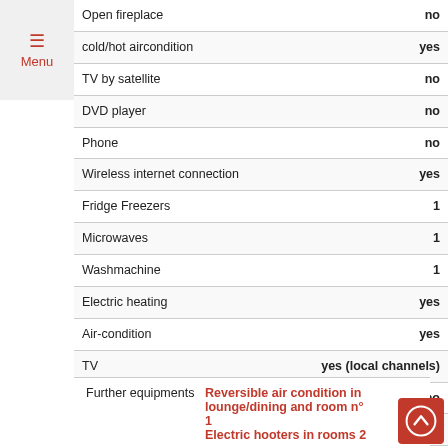| Feature | Value |
| --- | --- |
| Open fireplace | no |
| cold/hot aircondition | yes |
| TV by satellite | no |
| DVD player | no |
| Phone | no |
| Wireless internet connection | yes |
| Fridge Freezers | 1 |
| Microwaves | 1 |
| Washmachine | 1 |
| Electric heating | yes |
| Air-condition | yes |
| TV | yes (local channels) |
| Video recorder | no |
| Hifi | no |
| Fax | no |
|  |  |
| --- | --- |
| Further equipments | Reversible air condition in lounge/dining and room n° 1
Electric hooters in rooms 2 |